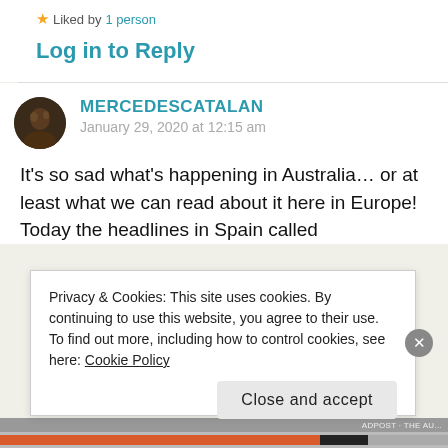★ Liked by 1 person
Log in to Reply
MERCEDESCATALAN
January 29, 2020 at 12:15 am
It's so sad what's happening in Australia... or at least what we can read about it here in Europe! Today the headlines in Spain called
Privacy & Cookies: This site uses cookies. By continuing to use this website, you agree to their use.
To find out more, including how to control cookies, see here: Cookie Policy
Close and accept